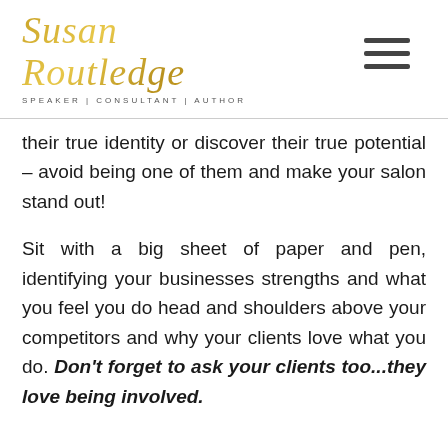Susan Routledge | SPEAKER | CONSULTANT | AUTHOR
their true identity or discover their true potential – avoid being one of them and make your salon stand out!
Sit with a big sheet of paper and pen, identifying your businesses strengths and what you feel you do head and shoulders above your competitors and why your clients love what you do. Don't forget to ask your clients too...they love being involved.